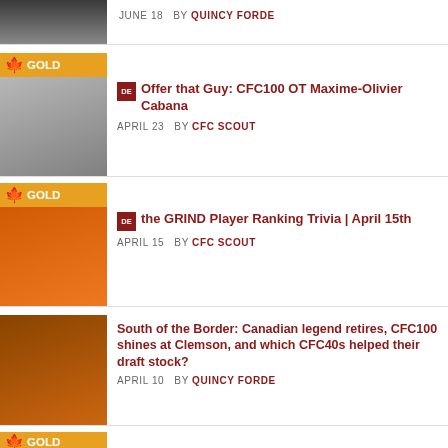[Figure (photo): Partial top article thumbnail of athlete]
JUNE 18   BY QUINCY FORDE
[Figure (photo): Football player in white jersey - CFC100 OT Maxime-Olivier Cabana, with GOLD badge]
Offer that Guy: CFC100 OT Maxime-Olivier Cabana
APRIL 23   BY CFC SCOUT
[Figure (photo): Football player in orange jersey number 21, with GOLD badge]
the GRIND Player Ranking Trivia | April 15th
APRIL 15   BY CFC SCOUT
[Figure (photo): Football players in orange and white jerseys on field]
South of the Border: Canadian legend retires, CFC100 shines at Clemson, and which CFC40s helped their draft stock?
APRIL 10   BY QUINCY FORDE
[Figure (photo): Partial gold badge visible at bottom]